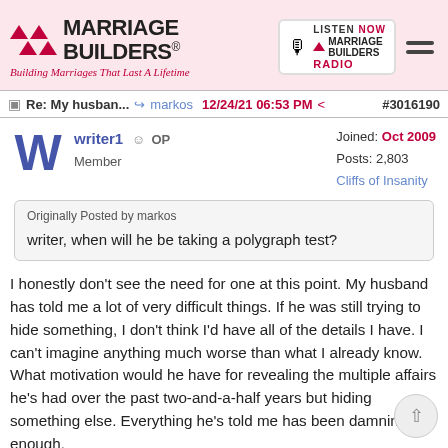Marriage Builders® — Building Marriages That Last A Lifetime
Re: My husban... markos 12/24/21 06:53 PM #3016190
writer1 OP Member   Joined: Oct 2009   Posts: 2,803   Cliffs of Insanity
Originally Posted by markos
writer, when will he be taking a polygraph test?
I honestly don't see the need for one at this point. My husband has told me a lot of very difficult things. If he was still trying to hide something, I don't think I'd have all of the details I have. I can't imagine anything much worse than what I already know. What motivation would he have for revealing the multiple affairs he's had over the past two-and-a-half years but hiding something else. Everything he's told me has been damning enough.